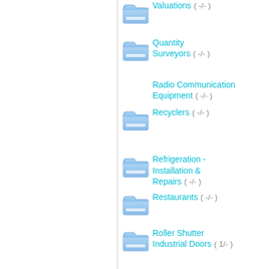Valuations ( -/- )
Quantity Surveyors ( -/- )
Radio Communication Equipment ( -/- )
Recyclers ( -/- )
Refrigeration - Installation & Repairs ( -/- )
Restaurants ( -/- )
Roller Shutter Industrial Doors ( 1/- )